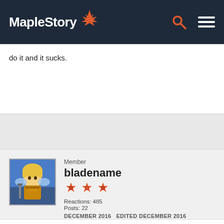MapleStory
do it and it sucks.
Member
bladename
Reactions: 485
Posts: 22
DECEMBER 2016   EDITED DECEMBER 2016
When i attack a monster it takes 30-45 secs to die. and if i hit more than 2 i get Gm police.